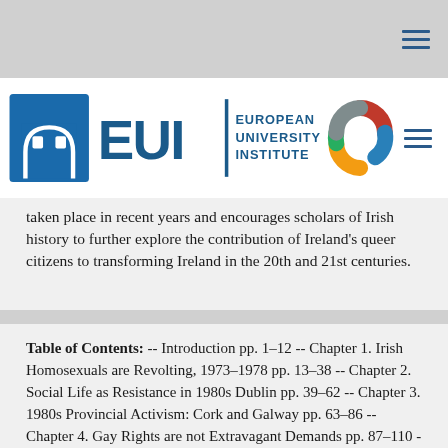[Figure (logo): European University Institute (EUI) logo with building icon, EUI text, and circular segmented emblem]
taken place in recent years and encourages scholars of Irish history to further explore the contribution of Ireland's queer citizens to transforming Ireland in the 20th and 21st centuries.
Table of Contents: -- Introduction pp. 1–12 -- Chapter 1. Irish Homosexuals are Revolting, 1973–1978 pp. 13–38 -- Chapter 2. Social Life as Resistance in 1980s Dublin pp. 39–62 -- Chapter 3. 1980s Provincial Activism: Cork and Galway pp. 63–86 -- Chapter 4. Gay Rights are not Extravagant Demands pp. 87–110 -- Chapter 5. Ireland was Ill-Equipped to deal with the AIDS Epidemic pp. 111–134 -- Chapter 6. Gay Rights: It's Time pp. 135–160